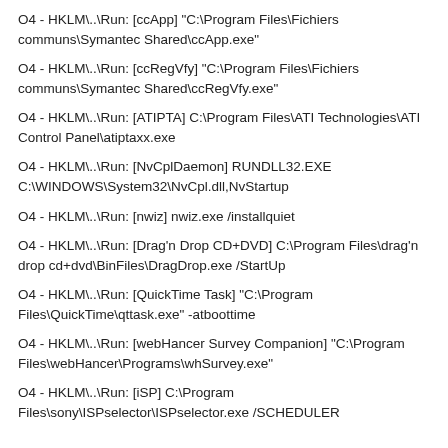O4 - HKLM\..\ Run: [ccApp] "C:\Program Files\Fichiers communs\Symantec Shared\ccApp.exe"
O4 - HKLM\..\ Run: [ccRegVfy] "C:\Program Files\Fichiers communs\Symantec Shared\ccRegVfy.exe"
O4 - HKLM\..\Run: [ATIPTA] C:\Program Files\ATI Technologies\ATI Control Panel\atiptaxx.exe
O4 - HKLM\..\Run: [NvCplDaemon] RUNDLL32.EXE C:\WINDOWS\System32\NvCpl.dll,NvStartup
O4 - HKLM\..\Run: [nwiz] nwiz.exe /installquiet
O4 - HKLM\..\Run: [Drag'n Drop CD+DVD] C:\Program Files\drag'n drop cd+dvd\BinFiles\DragDrop.exe /StartUp
O4 - HKLM\..\Run: [QuickTime Task] "C:\Program Files\QuickTime\qttask.exe" -atboottime
O4 - HKLM\..\Run: [webHancer Survey Companion] "C:\Program Files\webHancer\Programs\whSurvey.exe"
O4 - HKLM\..\Run: [iSP] C:\Program Files\sony\ISPselector\ISPselector.exe /SCHEDULER